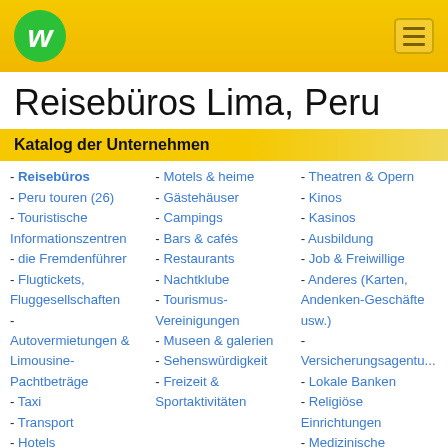Wuupi logo and navigation header
Reisebüros Lima, Peru
Katalog der Unternehmen
- Reisebüros
- Peru touren (26)
- Touristische Informationszentren
- die Fremdenführer
- Flugtickets, Fluggesellschaften
- Autovermietungen & Limousine-Pachtbeträge
- Taxi
- Transport
- Hotels
- Motels & heime
- Gästehäuser
- Campings
- Bars & cafés
- Restaurants
- Nachtklube
- Tourismus-Vereinigungen
- Museen & galerien
- Sehenswürdigkeit
- Freizeit & Sportaktivitäten
- Theatren & Opern
- Kinos
- Kasinos
- Ausbildung
- Job & Freiwillige
- Anderes (Karten, Andenken-Geschäfte usw.)
- Versicherungsagenturen
- Lokale Banken
- Religiöse Einrichtungen
- Medizinische